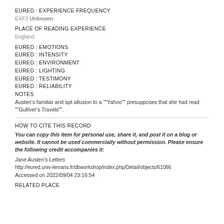EURED : EXPERIENCE FREQUENCY
EXF3 Unknown
PLACE OF READING EXPERIENCE
England
EURED : EMOTIONS
EURED : INTENSITY
EURED : ENVIRONMENT
EURED : LIGHTING
EURED : TESTIMONY
EURED : RELIABILITY
NOTES
Austen's familiar and apt allusion to a ""Yahoo"" presupposes that she had read ""Gulliver's Travels"".
HOW TO CITE THIS RECORD
You can copy this item for personal use, share it, and post it on a blog or website. It cannot be used commercially without permission. Please ensure the following credit accompanies it:
Jane Austen's Letters
http://eured.univ-lemans.fr/dbworkshop/index.php/Detail/objects/61086
Accessed on 2022/09/04 23:16:54
RELATED PLACE